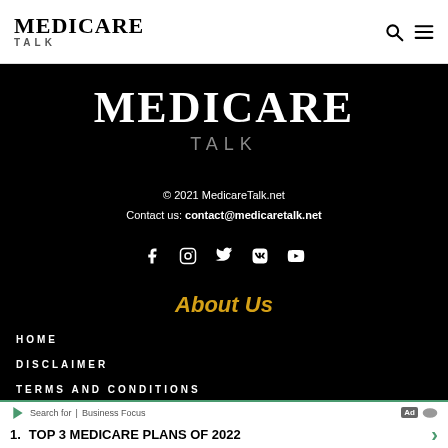MEDICARE TALK
[Figure (logo): Medicare Talk logo in white text on black background, large centered]
© 2021 MedicareTalk.net
Contact us: contact@medicaretalk.net
[Figure (infographic): Social media icons row: Facebook, Instagram, Twitter, VK, YouTube in white on black]
About Us
HOME
DISCLAIMER
TERMS AND CONDITIONS
Search for | Business Focus
1. TOP 3 MEDICARE PLANS OF 2022